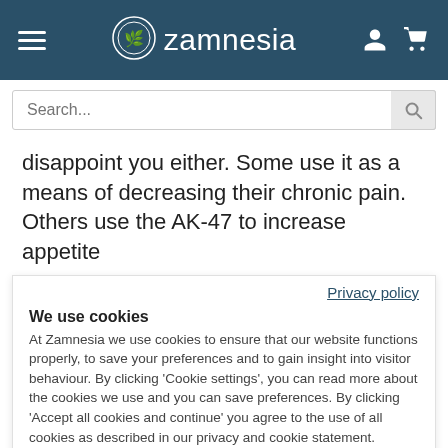[Figure (screenshot): Zamnesia website navigation bar with hamburger menu, logo, brand name, user icon and cart icon on dark teal background]
[Figure (screenshot): Search input bar with placeholder text 'Search...' and a search icon button on the right]
disappoint you either. Some use it as a means of decreasing their chronic pain. Others use the AK-47 to increase appetite
Privacy policy
We use cookies
At Zamnesia we use cookies to ensure that our website functions properly, to save your preferences and to gain insight into visitor behaviour. By clicking 'Cookie settings', you can read more about the cookies we use and you can save preferences. By clicking 'Accept all cookies and continue' you agree to the use of all cookies as described in our privacy and cookie statement.
Accept all cookies and continue
Cookie settings